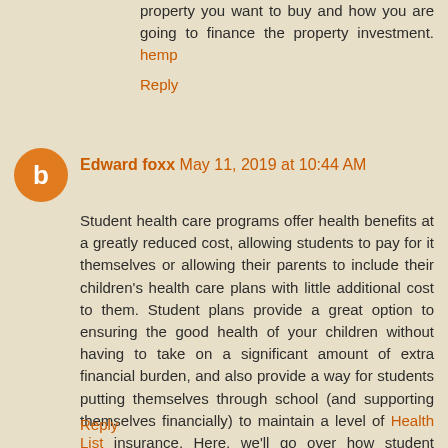property you want to buy and how you are going to finance the property investment. hemp
Reply
Edward foxx May 11, 2019 at 10:44 AM
Student health care programs offer health benefits at a greatly reduced cost, allowing students to pay for it themselves or allowing their parents to include their children's health care plans with little additional cost to them. Student plans provide a great option to ensuring the good health of your children without having to take on a significant amount of extra financial burden, and also provide a way for students putting themselves through school (and supporting themselves financially) to maintain a level of Health List insurance. Here, we'll go over how student health care plans work, as well as why you might want to consider them either for yourself if you are a student, or for your children.
Reply